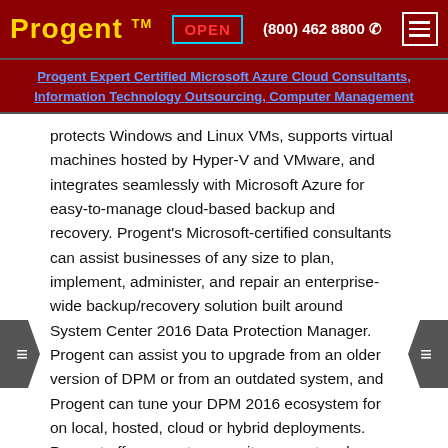Progent™  OPEN  (800) 462 8800  ☎
Progent Expert Certified Microsoft Azure Cloud Consultants, Information Technology Outsourcing, Computer Management
protects Windows and Linux VMs, supports virtual machines hosted by Hyper-V and VMware, and integrates seamlessly with Microsoft Azure for easy-to-manage cloud-based backup and recovery. Progent's Microsoft-certified consultants can assist businesses of any size to plan, implement, administer, and repair an enterprise-wide backup/recovery solution built around System Center 2016 Data Protection Manager. Progent can assist you to upgrade from an older version of DPM or from an outdated system, and Progent can tune your DPM 2016 ecosystem for on local, hosted, cloud or hybrid deployments. Progent offers remote or onsite support and can deliver as-needed guidance to help you through technical bottlenecks or provide comprehensive project management services to make sure you complete your SCDPM 2016 deployment on schedule and within your budget.